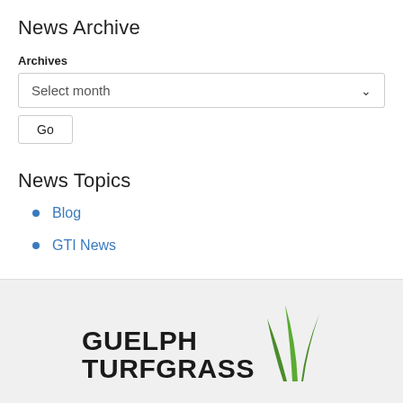News Archive
Archives
Select month
Go
News Topics
Blog
GTI News
[Figure (logo): Guelph Turfgrass Institute logo with green grass blades graphic and text GUELPH TURFGRASS]